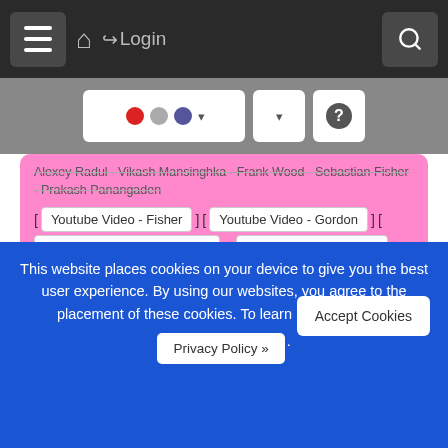Login
Alexey Radul · Vikash Mansinghka · Frank Wood · Sebastian Fisher · Prakash Panangaden
[ Youtube Video - Fisher ] [ Youtube Video - Gordon ] [ Youtube Video - Mansinghka ] [ Youtube Video - Meent ] [ Youtube Video - Pfeffer ] [ Youtube Video - Ritchie ] [ Youtube Video - Robert ] [ Youtube Video - Roy ]
Sat Dec 13 05:30 AM -- 03:30 PM (PST) @ Level 5, room 511 c   Workshop
High-energy particle physics, machine learning, and the HiggsML data challenge (HEPML)
Glen Cowan · Balázs Kégl · Kyle Cranmer · Gábor Melis · Tim Salimans · Vladimir Vava Gligorov · Daniel Whiteson · Lester Mackey · Wojtek
This website places cookies on your device to give you the best user experience. By using our websites, you agree to the placement of these cookies. To learn more, read our
Privacy Policy »
Accept Cookies